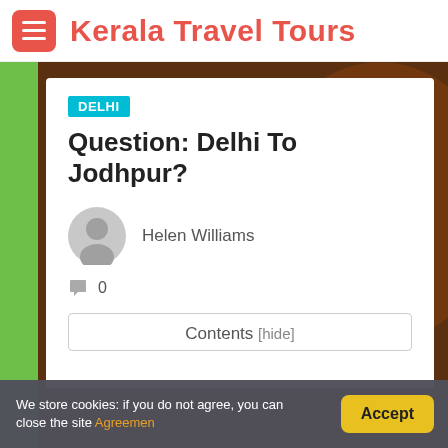Kerala Travel Tours
[Figure (screenshot): Background decorative image with dark orange/brown tones, partially visible face with traditional decor]
DELHI
Question: Delhi To Jodhpur?
Helen Williams
0
Contents [hide]
We store cookies: if you do not agree, you can close the site Agreemen
Accept